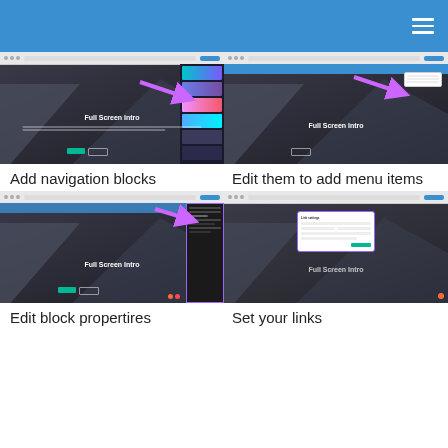[Figure (screenshot): Screenshot of a website builder showing 'Full Screen Intro' template with a navigation panel open on the right side, and a purple arrow pointing to the panel]
[Figure (screenshot): Screenshot of a website builder showing 'Full Screen Intro' template with a popup dropdown menu, and a purple arrow pointing to the menu]
Add navigation blocks
Edit them to add menu items
[Figure (screenshot): Screenshot of a website builder showing 'Full Screen Intro' with a dark side panel open for block properties editing, with purple arrow pointing to it]
[Figure (screenshot): Screenshot of a website builder showing 'Full Screen Intro' with a purple-bordered modal dialog for setting link properties]
Edit block propertires
Set your links